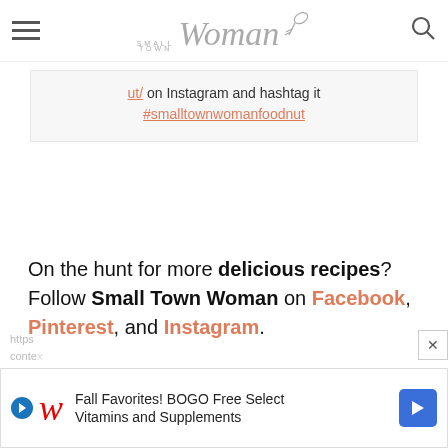Small Town Woman
ut/ on Instagram and hashtag it #smalltownwomanfoodnut
On the hunt for more delicious recipes? Follow Small Town Woman on Facebook, Pinterest, and Instagram.
[Figure (screenshot): Walgreens advertisement: Fall Favorites! BOGO Free Select Vitamins and Supplements]